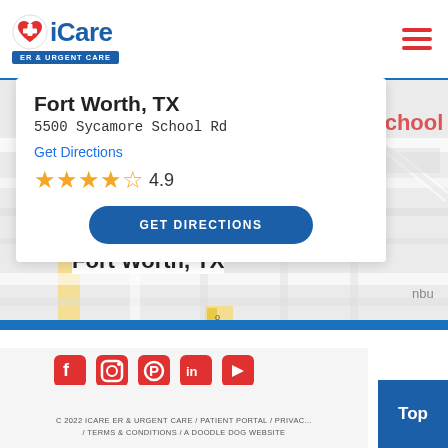[Figure (logo): iCare ER & Urgent Care logo with red heart/cross icon and blue text]
[Figure (map): Google Maps view showing Sycamore School Road area in Fort Worth TX with red location pin]
Fort Worth, TX
5500 Sycamore School Rd
Get Directions
★★★★★ 4.9
GET DIRECTIONS
[Figure (infographic): Social media icons: Facebook, Instagram, Pinterest, LinkedIn, YouTube]
C 2022 iCARE ER & URGENT CARE / PATIENT PORTAL / PRIVACY / TERMS & CONDITIONS / A DOODLE DOG WEBSITE